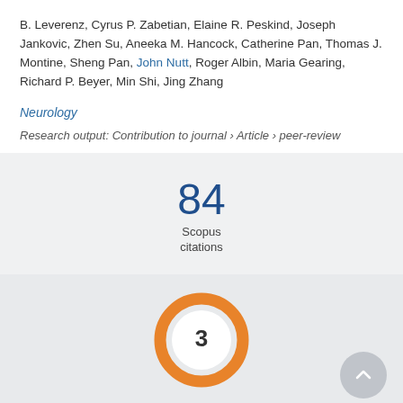B. Leverenz, Cyrus P. Zabetian, Elaine R. Peskind, Joseph Jankovic, Zhen Su, Aneeka M. Hancock, Catherine Pan, Thomas J. Montine, Sheng Pan, John Nutt, Roger Albin, Maria Gearing, Richard P. Beyer, Min Shi, Jing Zhang
Neurology
Research output: Contribution to journal › Article › peer-review
[Figure (other): Scopus citations count: 84 with label 'Scopus citations' below]
[Figure (donut-chart): Altmetric donut badge showing score of 3, orange ring on white/light background]